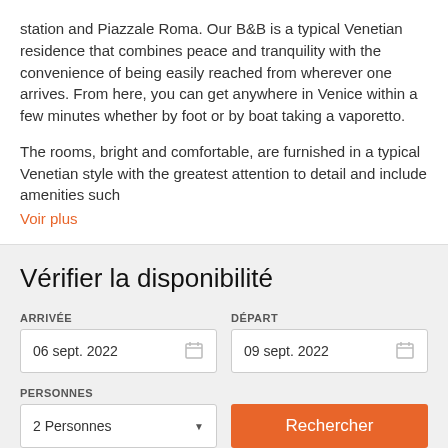station and Piazzale Roma. Our B&B is a typical Venetian residence that combines peace and tranquility with the convenience of being easily reached from wherever one arrives. From here, you can get anywhere in Venice within a few minutes whether by foot or by boat taking a vaporetto.
The rooms, bright and comfortable, are furnished in a typical Venetian style with the greatest attention to detail and include amenities such
Voir plus
Vérifier la disponibilité
ARRIVÉE
06 sept. 2022
DÉPART
09 sept. 2022
PERSONNES
2 Personnes
Rechercher